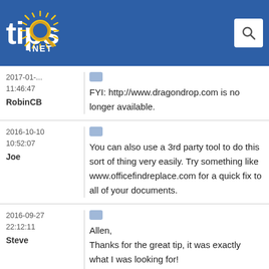[Figure (logo): Tips.NET logo with sun graphic on blue header bar with search icon]
2017-01-...
11:46:47
RobinCB
FYI: http://www.dragondrop.com is no longer available.
2016-10-10
10:52:07
Joe
You can also use a 3rd party tool to do this sort of thing very easily. Try something like www.officefindreplace.com for a quick fix to all of your documents.
2016-09-27
22:12:11
Steve
Allen,
Thanks for the great tip, it was exactly what I was looking for!

Cheers!
-Steve